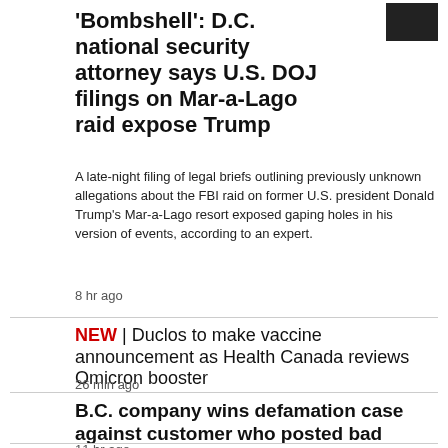'Bombshell': D.C. national security attorney says U.S. DOJ filings on Mar-a-Lago raid expose Trump
A late-night filing of legal briefs outlining previously unknown allegations about the FBI raid on former U.S. president Donald Trump's Mar-a-Lago resort exposed gaping holes in his version of events, according to an expert.
8 hr ago
NEW | Duclos to make vaccine announcement as Health Canada reviews Omicron booster
26 min ago
B.C. company wins defamation case against customer who posted bad Google, Yelp reviews
11 hr ago